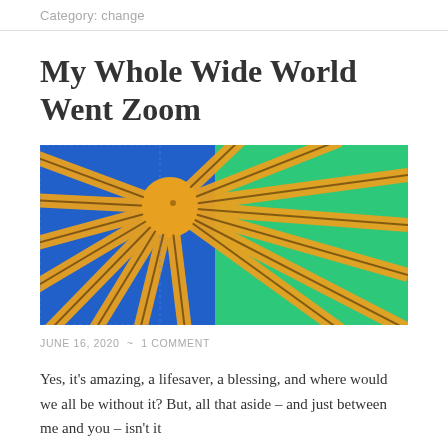Category: change
My Whole Wide World Went Zoom
[Figure (photo): Colorful radial sunburst pattern with orange, blue, and green geometric segments radiating from a central orange circle]
JUNE 16, 2020  ~  1 COMMENT
Yes, it's amazing, a lifesaver, a blessing, and where would we all be without it? But, all that aside – and just between me and you – isn't it